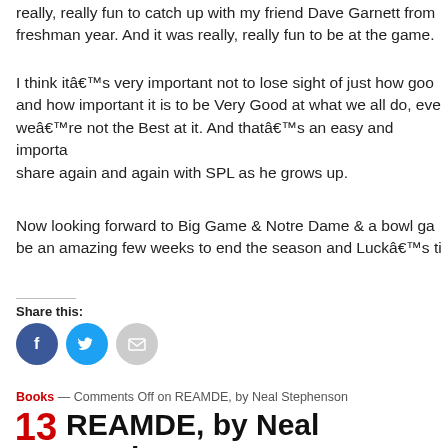really, really fun to catch up with my friend Dave Garnett from freshman year. And it was really, really fun to be at the game.
I think itâ€™s very important not to lose sight of just how good and how important it is to be Very Good at what we all do, even weâ€™re not the Best at it. And thatâ€™s an easy and important share again and again with SPL as he grows up.
Now looking forward to Big Game & Notre Dame & a bowl ga be an amazing few weeks to end the season and Luckâ€™s ti
Share this:
[Figure (infographic): Social share icons: Facebook (blue circle with f), Twitter (blue circle with bird), Email (grey circle with envelope)]
Books — Comments Off on REAMDE, by Neal Stephenson
13 REAMDE, by Neal Stephenson
NOV 11